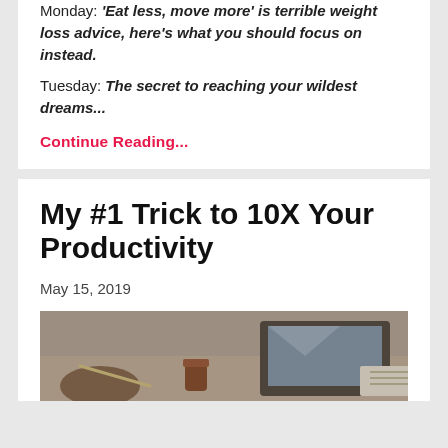Monday: 'Eat less, move more' is terrible weight loss advice, here's what you should focus on instead.
Tuesday: The secret to reaching your wildest dreams...
Continue Reading...
My #1 Trick to 10X Your Productivity
May 15, 2019
[Figure (photo): People working at a table with laptops, drinks, and papers]